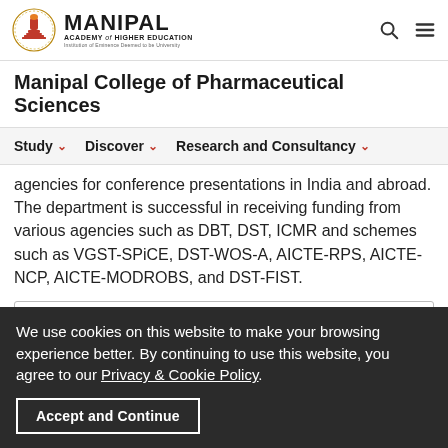Manipal Academy of Higher Education — logo and navigation icons
Manipal College of Pharmaceutical Sciences
Study | Discover | Research and Consultancy
agencies for conference presentations in India and abroad. The department is successful in receiving funding from various agencies such as DBT, DST, ICMR and schemes such as VGST-SPiCE, DST-WOS-A, AICTE-RPS, AICTE-NCP, AICTE-MODROBS, and DST-FIST.
Academic
We use cookies on this website to make your browsing experience better. By continuing to use this website, you agree to our Privacy & Cookie Policy.
Accept and Continue